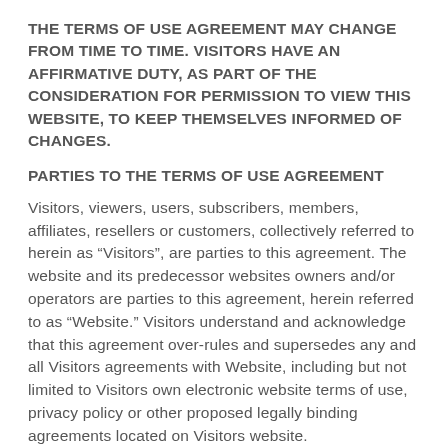THE TERMS OF USE AGREEMENT MAY CHANGE FROM TIME TO TIME. VISITORS HAVE AN AFFIRMATIVE DUTY, AS PART OF THE CONSIDERATION FOR PERMISSION TO VIEW THIS WEBSITE, TO KEEP THEMSELVES INFORMED OF CHANGES.
PARTIES TO THE TERMS OF USE AGREEMENT
Visitors, viewers, users, subscribers, members, affiliates, resellers or customers, collectively referred to herein as “Visitors”, are parties to this agreement. The website and its predecessor websites owners and/or operators are parties to this agreement, herein referred to as “Website.” Visitors understand and acknowledge that this agreement over-rules and supersedes any and all Visitors agreements with Website, including but not limited to Visitors own electronic website terms of use, privacy policy or other proposed legally binding agreements located on Visitors website.